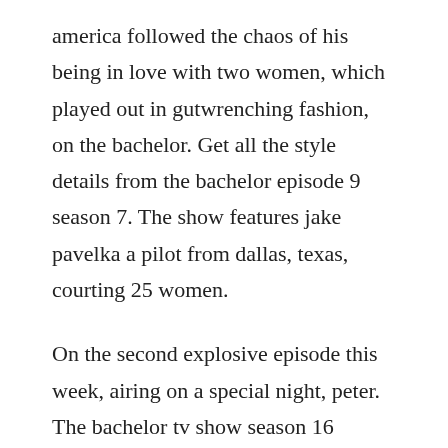america followed the chaos of his being in love with two women, which played out in gutwrenching fashion, on the bachelor. Get all the style details from the bachelor episode 9 season 7. The show features jake pavelka a pilot from dallas, texas, courting 25 women.
On the second explosive episode this week, airing on a special night, peter. The bachelor tv show season 16 episodes list next episode. On the bachelor season 20 episode 7, ben higgins journey officially reached the point where he selected his coveted final four.